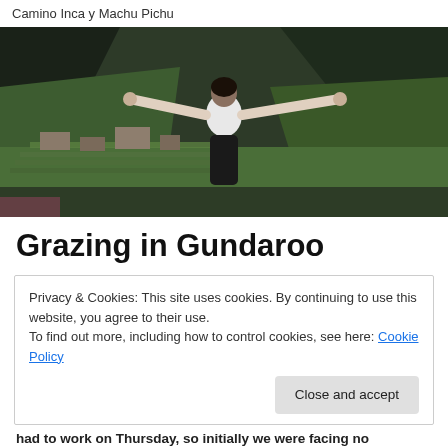Camino Inca y Machu Pichu
[Figure (photo): Person standing with arms outstretched overlooking Machu Picchu ruins and green mountains]
Grazing in Gundaroo
Privacy & Cookies: This site uses cookies. By continuing to use this website, you agree to their use.
To find out more, including how to control cookies, see here: Cookie Policy
Close and accept
had to work on Thursday, so initially we were facing no